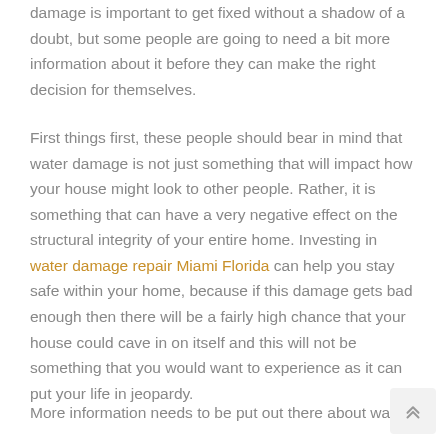damage is important to get fixed without a shadow of a doubt, but some people are going to need a bit more information about it before they can make the right decision for themselves.
First things first, these people should bear in mind that water damage is not just something that will impact how your house might look to other people. Rather, it is something that can have a very negative effect on the structural integrity of your entire home. Investing in water damage repair Miami Florida can help you stay safe within your home, because if this damage gets bad enough then there will be a fairly high chance that your house could cave in on itself and this will not be something that you would want to experience as it can put your life in jeopardy.
More information needs to be put out there about water